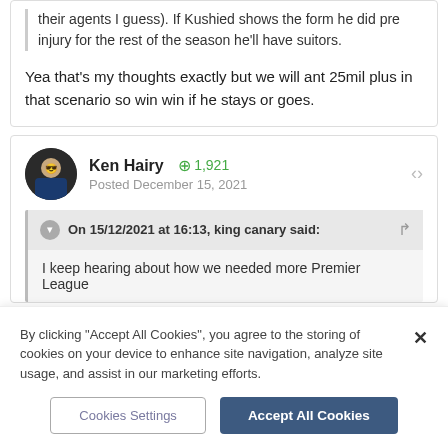their agents I guess). If Kushied shows the form he did pre injury for the rest of the season he'll have suitors.
Yea that's my thoughts exactly but we will ant 25mil plus in that scenario so win win if he stays or goes.
Ken Hairy  +1,921  Posted December 15, 2021
On 15/12/2021 at 16:13, king canary said:
I keep hearing about how we needed more Premier League
By clicking "Accept All Cookies", you agree to the storing of cookies on your device to enhance site navigation, analyze site usage, and assist in our marketing efforts.